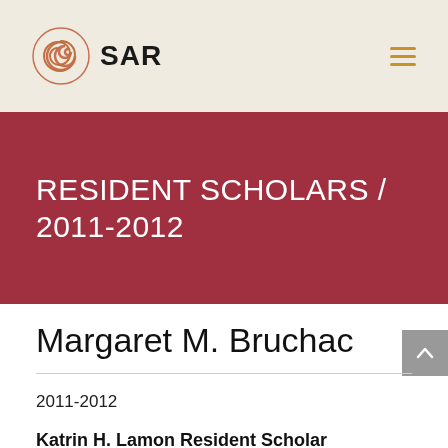SAR
RESIDENT SCHOLARS / 2011-2012
Margaret M. Bruchac
2011-2012
Katrin H. Lamon Resident Scholar